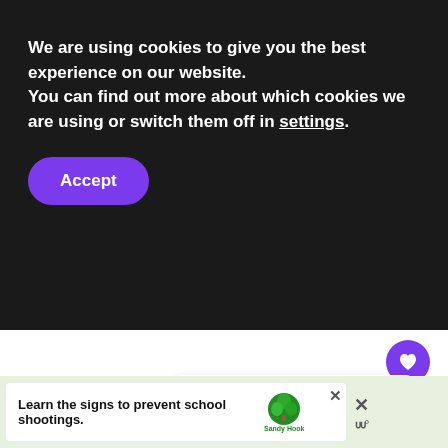We are using cookies to give you the best experience on our website.
You can find out more about which cookies we are using or switch them off in settings.
Accept
[Figure (infographic): Heart (favorite) button — purple circle with white heart icon]
[Figure (infographic): Share button — white circle with share icon]
[Figure (infographic): What's Next card with plant image thumbnail, purple arrow label 'WHAT'S NEXT →', title '5 Great Health Benefits of...']
[Figure (infographic): Advertisement banner: 'Learn the signs to prevent school shootings.' with Sandy Hook Promise logo and close buttons]